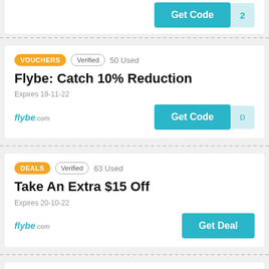[Figure (other): Partial top card with Get Code button and partial number visible]
VOUCHERS | Verified | 50 Used
Flybe: Catch 10% Reduction
Expires 19-11-22
Get Code
DEALS | Verified | 63 Used
Take An Extra $15 Off
Expires 20-10-22
Get Deal
DEALS | Verified | 32 Used